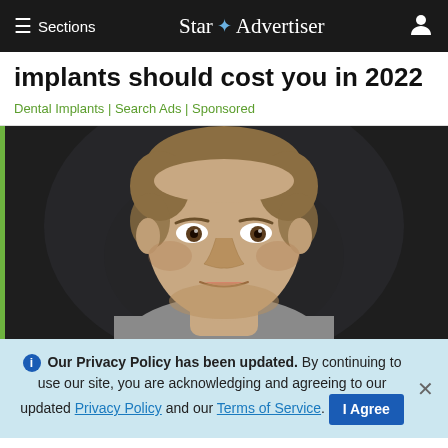≡ Sections  Star ✦ Advertiser  👤
implants should cost you in 2022
Dental Implants | Search Ads | Sponsored
[Figure (photo): Close-up portrait photo of a young man with short brown hair against a dark background, with a green bar on the left edge of the image.]
ℹ Our Privacy Policy has been updated. By continuing to use our site, you are acknowledging and agreeing to our updated Privacy Policy and our Terms of Service. I Agree